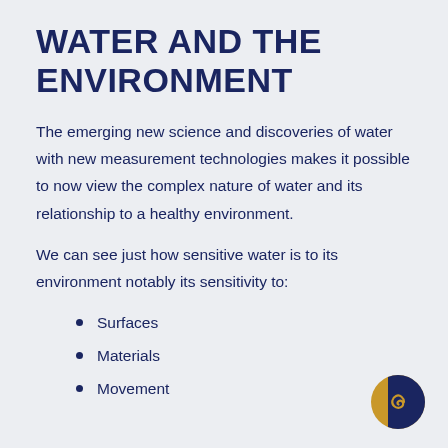WATER AND THE ENVIRONMENT
The emerging new science and discoveries of water with new measurement technologies makes it possible to now view the complex nature of water and its relationship to a healthy environment.
We can see just how sensitive water is to its environment notably its sensitivity to:
Surfaces
Materials
Movement
[Figure (logo): Circular logo with gold/yellow outer arc and dark navy crescent/spiral shape on the right side]